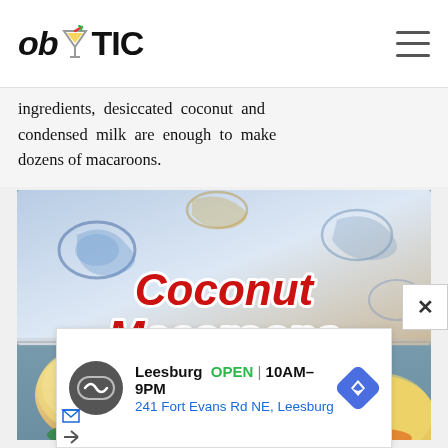ob TIC
ingredients, desiccated coconut and condensed milk are enough to make dozens of macaroons.
[Figure (photo): Photo of coconut macaroons in a decorative box with blue and gold floral pattern. Text overlay reads 'Coconut Macaroons' in red italic font with white outline.]
Leesburg OPEN | 10AM–9PM 241 Fort Evans Rd NE, Leesburg